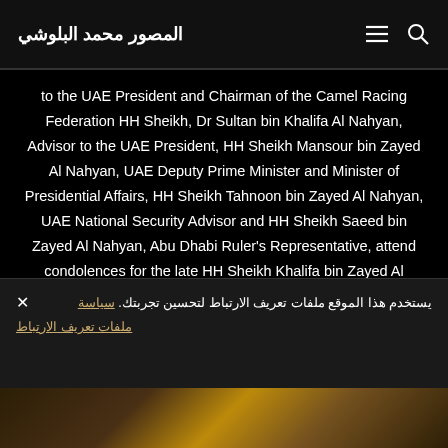المصور محمد البلوشي
to the UAE President and Chairman of the Camel Racing Federation HH Sheikh, Dr Sultan bin Khalifa Al Nahyan, Advisor to the UAE President, HH Sheikh Mansour bin Zayed Al Nahyan, UAE Deputy Prime Minister and Minister of Presidential Affairs, HH Sheikh Tahnoon bin Zayed Al Nahyan, UAE National Security Advisor and HH Sheikh Saeed bin Zayed Al Nahyan, Abu Dhabi Ruler's Representative, attend condolences for the late HH Sheikh Khalifa bin Zayed Al Nahyan, President of the United Arab Emirates, at the Presidential Airport.
(Rashed Al Mansoori / Ministry of Presidential Affairs)
يستخدم هذا الموقع ملفات تعريف الارتباط لتحسين تجربتك. سياسة ملفات تعريف الارتباط